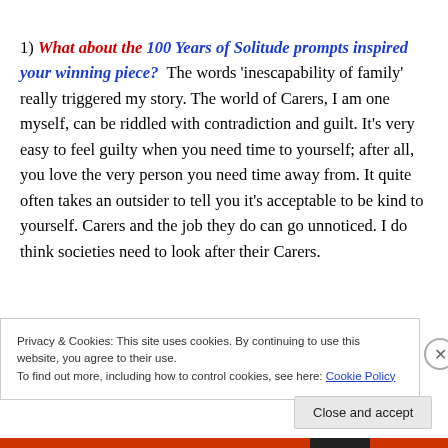1) What about the 100 Years of Solitude prompts inspired your winning piece?  The words 'inescapability of family' really triggered my story. The world of Carers, I am one myself, can be riddled with contradiction and guilt. It's very easy to feel guilty when you need time to yourself; after all, you love the very person you need time away from. It quite often takes an outsider to tell you it's acceptable to be kind to yourself. Carers and the job they do can go unnoticed. I do think societies need to look after their Carers.
Privacy & Cookies: This site uses cookies. By continuing to use this website, you agree to their use.
To find out more, including how to control cookies, see here: Cookie Policy